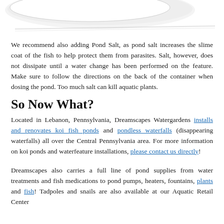[Figure (photo): Partial image of a white object (likely a pond product or feature) against a white background, cropped at the top of the page.]
We recommend also adding Pond Salt, as pond salt increases the slime coat of the fish to help protect them from parasites. Salt, however, does not dissipate until a water change has been performed on the feature. Make sure to follow the directions on the back of the container when dosing the pond. Too much salt can kill aquatic plants.
So Now What?
Located in Lebanon, Pennsylvania, Dreamscapes Watergardens installs and renovates koi fish ponds and pondless waterfalls (disappearing waterfalls) all over the Central Pennsylvania area. For more information on koi ponds and waterfeature installations, please contact us directly!
Dreamscapes also carries a full line of pond supplies from water treatments and fish medications to pond pumps, heaters, fountains, plants and fish! Tadpoles and snails are also available at our Aquatic Retail Center